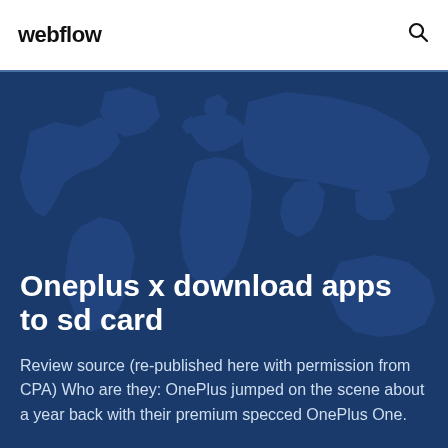webflow
[Figure (illustration): Dark blue world map silhouette on a navy background hero section]
Oneplus x download apps to sd card
Review source (re-published here with permission from CPA) Who are they: OnePlus jumped on the scene about a year back with their premium specced OnePlus One.